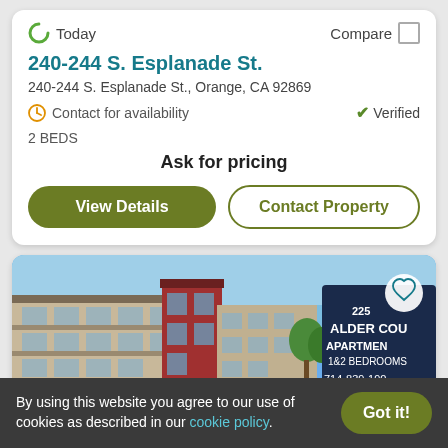Today
Compare
240-244 S. Esplanade St.
240-244 S. Esplanade St., Orange, CA 92869
Contact for availability
Verified
2 BEDS
Ask for pricing
View Details
Contact Property
[Figure (photo): Exterior photo of Alder Court Apartments, a multi-story apartment building with beige and red facade under blue sky, with a sign reading '225 ALDER COURT APARTMENTS 1&2 BEDROOMS 714-839-190']
By using this website you agree to our use of cookies as described in our cookie policy.
Got it!